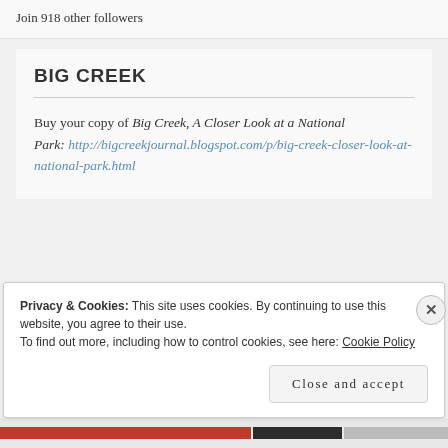Join 918 other followers
BIG CREEK
Buy your copy of Big Creek, A Closer Look at a National Park: http://bigcreekjournal.blogspot.com/p/big-creek-closer-look-at-national-park.html
Privacy & Cookies: This site uses cookies. By continuing to use this website, you agree to their use.
To find out more, including how to control cookies, see here: Cookie Policy
Close and accept